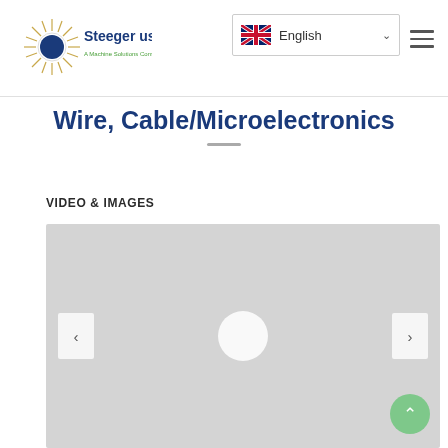[Figure (logo): Steeger USA logo — sunburst icon with company name and tagline 'A Machine Solutions Company']
[Figure (screenshot): Language selector dropdown showing UK flag and 'English' with chevron]
[Figure (other): Hamburger menu icon (three horizontal lines)]
Wire, Cable/Microelectronics
VIDEO & IMAGES
[Figure (photo): Gray placeholder media area with play button circle and previous/next navigation arrows]